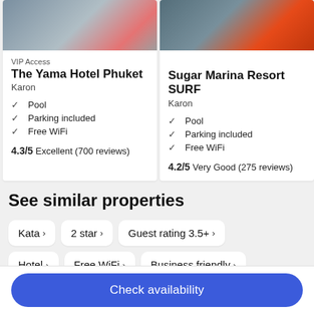[Figure (photo): Hotel room with orange chairs and pool view - The Yama Hotel Phuket]
[Figure (photo): Sugar Marina Resort SURF hotel exterior with orange umbrellas and palm trees]
VIP Access
The Yama Hotel Phuket
Karon
Pool
Parking included
Free WiFi
4.3/5 Excellent (700 reviews)
Sugar Marina Resort SURF
Karon
Pool
Parking included
Free WiFi
4.2/5 Very Good (275 reviews)
See similar properties
Kata >
2 star >
Guest rating 3.5+ >
Hotel >
Free WiFi >
Business friendly >
Check availability